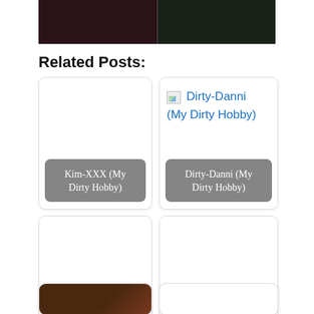[Figure (photo): Top cropped image showing two side-by-side dark photos]
Related Posts:
[Figure (photo): Card: Kim-XXX (My Dirty Hobby) - blank white card with gray label]
[Figure (photo): Card: Dirty-Danni (My Dirty Hobby) - broken image icon with blue link text and gray label]
[Figure (photo): Card: Little-Kim (My Dirty Hobby) - blank white card with gray label]
[Figure (photo): Card: Dirty-Sanya (My Dirty Hobby) - blank white card with gray label]
[Figure (photo): Bottom partial card with dark reddish photo thumbnail]
[Figure (photo): Bottom partial card - blank]